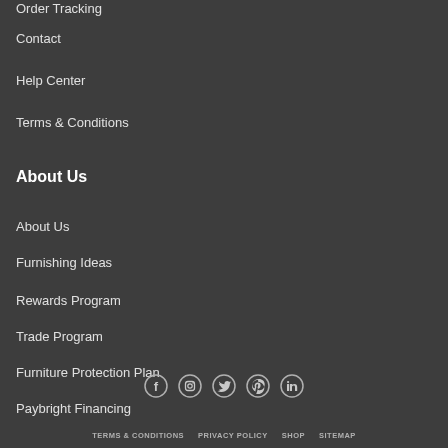Order Tracking
Contact
Help Center
Terms & Conditions
About Us
About Us
Furnishing Ideas
Rewards Program
Trade Program
Furniture Protection Plan
Paybright Financing
[Figure (infographic): Social media icons: Facebook, Instagram, Twitter, Pinterest, LinkedIn]
TERMS & CONDITIONS   PRIVACY POLICY   SHOP   SITEMAP